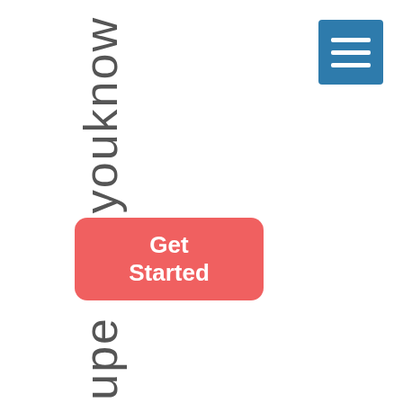youknow
[Figure (illustration): Blue square hamburger menu icon with three white horizontal lines]
Get Started
Supe